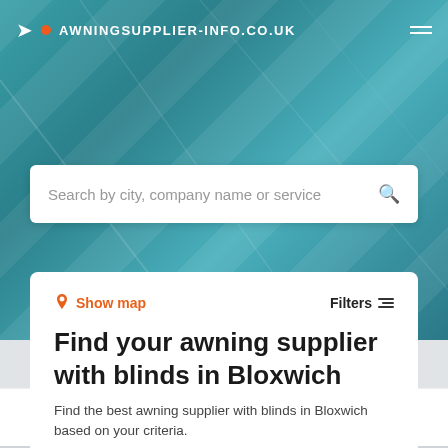AWNINGSUPPLIER-INFO.CO.UK
[Figure (screenshot): Search bar with placeholder text 'Search by city, company name or service' and a magnifying glass icon]
Show map
Filters
Find your awning supplier with blinds in Bloxwich
Find the best awning supplier with blinds in Bloxwich based on your criteria.
Add your company
It's free →